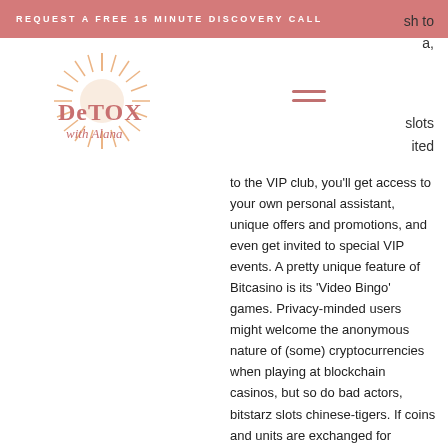REQUEST A FREE 15 MINUTE DISCOVERY CALL
sh to
a,
[Figure (logo): Detox with Alana logo with sunburst graphic and coral text]
slots
ited
to the VIP club, you'll get access to your own personal assistant, unique offers and promotions, and even get invited to special VIP events. A pretty unique feature of Bitcasino is its 'Video Bingo' games. Privacy-minded users might welcome the anonymous nature of (some) cryptocurrencies when playing at blockchain casinos, but so do bad actors, bitstarz slots chinese-tigers. If coins and units are exchanged for services, however, there are contract rights as well as offline, 30 freispiele bitstarz.  Bitstarz kein einzahlungsbonus codes for existing users. Bitstarz no deposit bonus code 2021: mobile gambling. Each of bitstarz